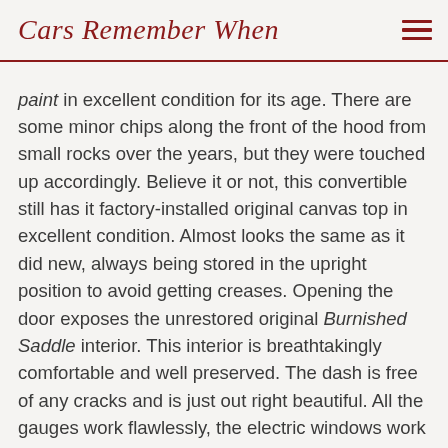Cars Remember When
paint in excellent condition for its age. There are some minor chips along the front of the hood from small rocks over the years, but they were touched up accordingly. Believe it or not, this convertible still has it factory-installed original canvas top in excellent condition. Almost looks the same as it did new, always being stored in the upright position to avoid getting creases. Opening the door exposes the unrestored original Burnished Saddle interior. This interior is breathtakingly comfortable and well preserved. The dash is free of any cracks and is just out right beautiful. All the gauges work flawlessly, the electric windows work great, power adjustable seat moves smoothly, and the power convertible top goes up and down with ease. One word to describe this interior is immaculate.
Under the hood lays the original Buick 455 big block with